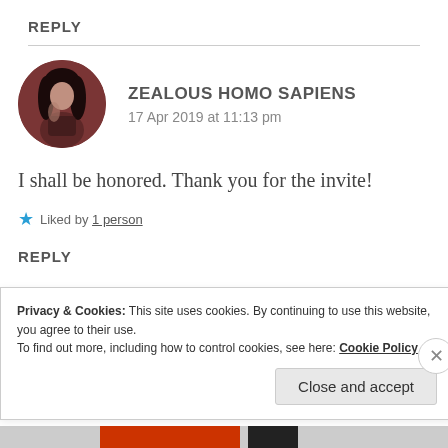REPLY
[Figure (photo): Circular avatar photo of a person with dark hair against a dark background, reddish-brown tones]
ZEALOUS HOMO SAPIENS
17 Apr 2019 at 11:13 pm
I shall be honored. Thank you for the invite!
★ Liked by 1 person
REPLY
Privacy & Cookies: This site uses cookies. By continuing to use this website, you agree to their use.
To find out more, including how to control cookies, see here: Cookie Policy